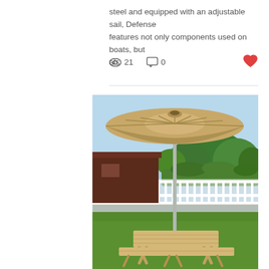steel and equipped with an adjustable sail, Defense features not only components used on boats, but als
[Figure (infographic): Row with eye icon showing count 21, speech bubble icon showing count 0, and red heart icon on the right]
[Figure (photo): Outdoor photo of a large beige patio umbrella mounted on a metal pole over a wooden picnic table with benches on a green lawn. White fence, trees, and a brown building visible in the background under a blue sky.]